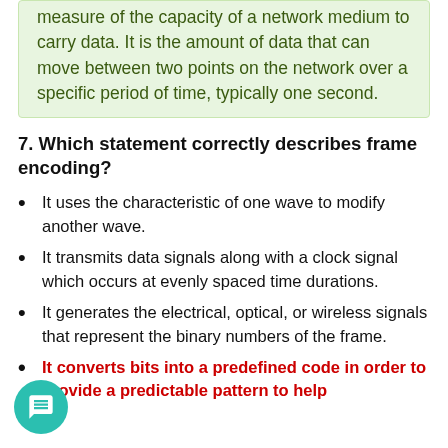measure of the capacity of a network medium to carry data. It is the amount of data that can move between two points on the network over a specific period of time, typically one second.
7. Which statement correctly describes frame encoding?
It uses the characteristic of one wave to modify another wave.
It transmits data signals along with a clock signal which occurs at evenly spaced time durations.
It generates the electrical, optical, or wireless signals that represent the binary numbers of the frame.
It converts bits into a predefined code in order to provide a predictable pattern to help